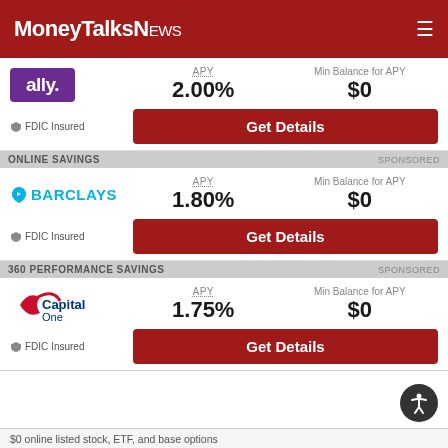MoneyTalksNews
[Figure (logo): Ally Bank logo - white text on purple background]
APY 2.00%   Min Balance for APY $0
FDIC Insured   Get Details
ONLINE SAVINGS   SPONSORED
[Figure (logo): Barclays logo - blue eagle and BARCLAYS text]
APY 1.80%   Min Balance for APY $0
FDIC Insured   Get Details
360 PERFORMANCE SAVINGS   SPONSORED
[Figure (logo): Capital One logo with red swoosh]
APY 1.75%   Min Balance for APY $0
FDIC Insured   Get Details
$0 online listed stock, ETF, and base options